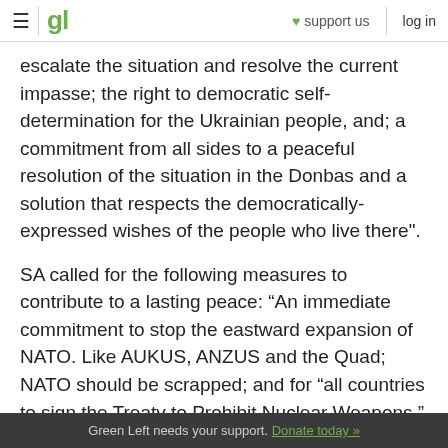gl  ♥ support us  log in
escalate the situation and resolve the current impasse; the right to democratic self-determination for the Ukrainian people, and; a commitment from all sides to a peaceful resolution of the situation in the Donbas and a solution that respects the democratically-expressed wishes of the people who live there".
SA called for the following measures to contribute to a lasting peace: “An immediate commitment to stop the eastward expansion of NATO. Like AUKUS, ANZUS and the Quad; NATO should be scrapped; and for “all countries to sign the Treaty to Prohibit Nuclear Weapons.”
Green Left needs your support. Donate today »